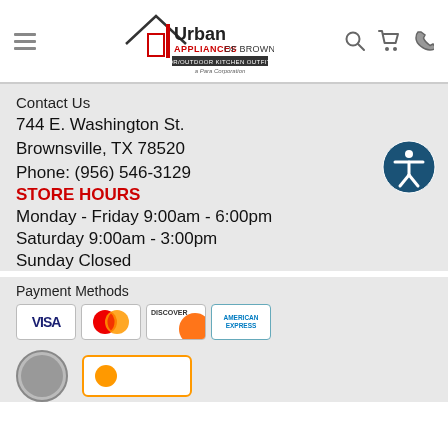[Figure (logo): Urban Appliances of Brownsville - Indoor/Outdoor Kitchen Outfitters - a Para Corporation logo with house/roof graphic]
Contact Us
744 E. Washington St.
Brownsville, TX 78520
Phone: (956) 546-3129
STORE HOURS
Monday - Friday 9:00am - 6:00pm
Saturday 9:00am - 3:00pm
Sunday Closed
Payment Methods
[Figure (infographic): Payment method logos: VISA, MasterCard, Discover, American Express]
[Figure (infographic): Trust/certification badges at bottom of page]